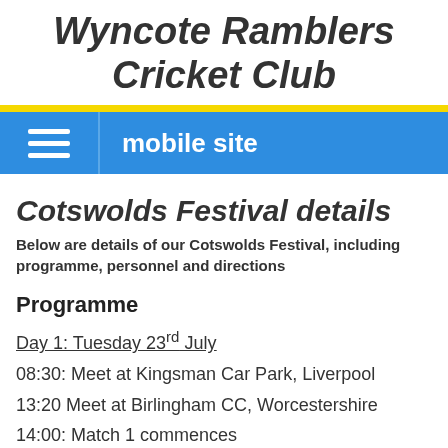Wyncote Ramblers Cricket Club
mobile site
Cotswolds Festival details
Below are details of our Cotswolds Festival, including programme, personnel and directions
Programme
Day 1: Tuesday 23rd July
08:30: Meet at Kingsman Car Park, Liverpool
13:20 Meet at Birlingham CC, Worcestershire
14:00: Match 1 commences